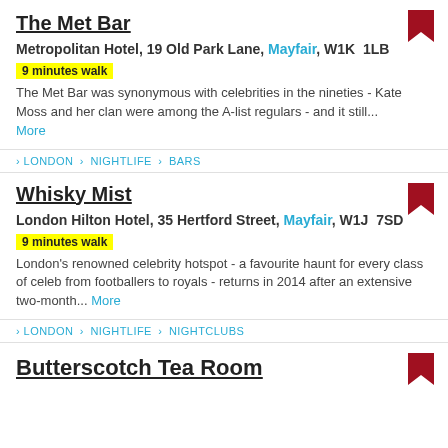The Met Bar
Metropolitan Hotel, 19 Old Park Lane, Mayfair, W1K  1LB
9 minutes walk
The Met Bar was synonymous with celebrities in the nineties - Kate Moss and her clan were among the A-list regulars - and it still... More
> LONDON > NIGHTLIFE > BARS
Whisky Mist
London Hilton Hotel, 35 Hertford Street, Mayfair, W1J  7SD
9 minutes walk
London's renowned celebrity hotspot - a favourite haunt for every class of celeb from footballers to royals - returns in 2014 after an extensive two-month... More
> LONDON > NIGHTLIFE > NIGHTCLUBS
Butterscotch Tea Room